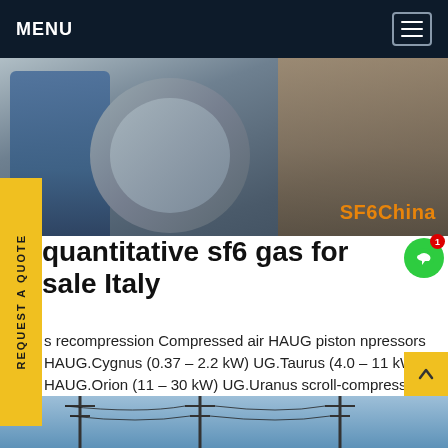MENU
[Figure (photo): Industrial photo showing worker in blue overalls near large pipe flange equipment, with SF6China branding in orange at bottom right]
quantitative sf6 gas for sale Italy
s recompression Compressed air HAUG piston npressors HAUG.Cygnus (0.37 – 2.2 kW) UG.Taurus (4.0 – 11 kW) HAUG.Orion (11 – 30 kW) UG.Uranus scroll-compressors Customer service Technical support / sales of spare parts insulating gas – gasGet price
[Figure (photo): Bottom strip showing power line infrastructure and electrical substation equipment against blue sky]